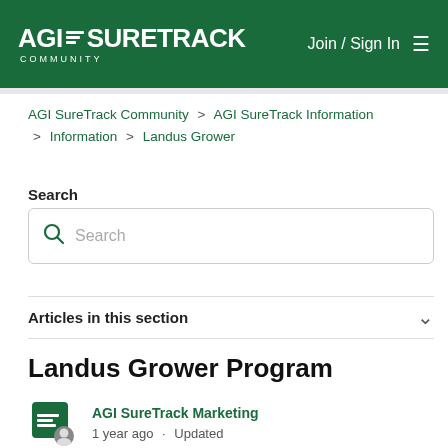AGI SURETRACK COMMUNITY — Join / Sign In
AGI SureTrack Community > AGI SureTrack Information > Information > Landus Grower
Search
Articles in this section
Landus Grower Program
AGI SureTrack Marketing
1 year ago · Updated